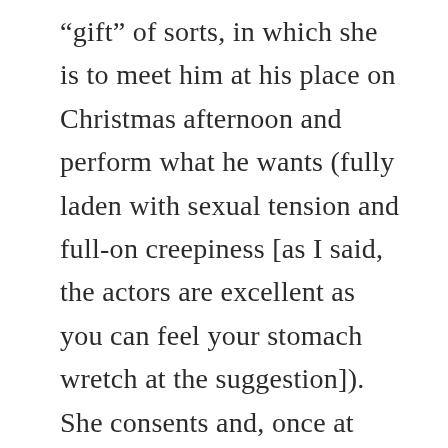“gift” of sorts, in which she is to meet him at his place on Christmas afternoon and perform what he wants (fully laden with sexual tension and full-on creepiness [as I said, the actors are excellent as you can feel your stomach wretch at the suggestion]). She consents and, once at Scrooge’s place, he instructs her to disrobe. She